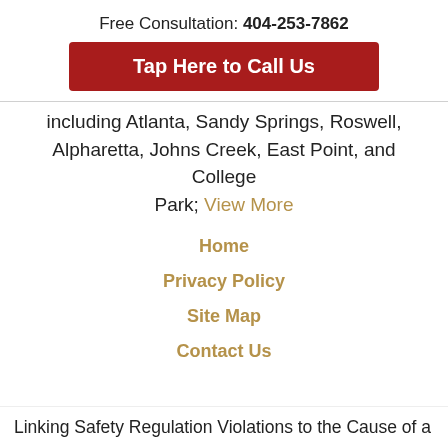Free Consultation: 404-253-7862
Tap Here to Call Us
including Atlanta, Sandy Springs, Roswell, Alpharetta, Johns Creek, East Point, and College Park; View More
Home
Privacy Policy
Site Map
Contact Us
Linking Safety Regulation Violations to the Cause of a